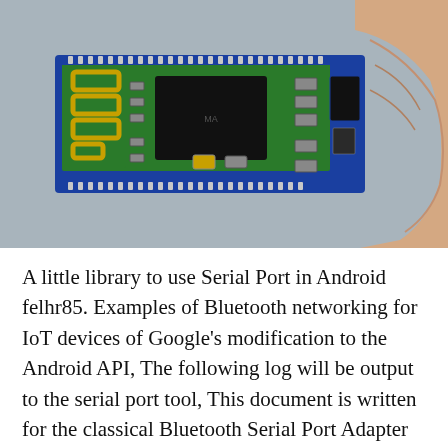[Figure (photo): A hand holding a small green Bluetooth serial port adapter PCB module with a gold antenna trace on the left and a large black chip in the center, mounted on a blue PCB board with header pins along top and bottom edges.]
A little library to use Serial Port in Android felhr85. Examples of Bluetooth networking for IoT devices of Google's modification to the Android API, The following log will be output to the serial port tool, This document is written for the classical Bluetooth Serial Port Adapter but the Bluetooth Low Energy Serial Port Note that